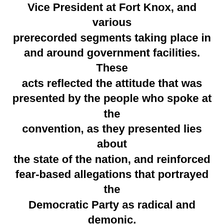Vice President at Fort Knox, and various prerecorded segments taking place in and around government facilities. These acts reflected the attitude that was presented by the people who spoke at the convention, as they presented lies about the state of the nation, and reinforced fear-based allegations that portrayed the Democratic Party as radical and demonic. The entire convention was cloaked in political fanfare typical of Trump, and this closing held true to that. Though the Trump Supporters who spoke at the convention claimed that their party is committed to freedom and hope, they spent the majority of the event speaking negatively about the Democratic Party